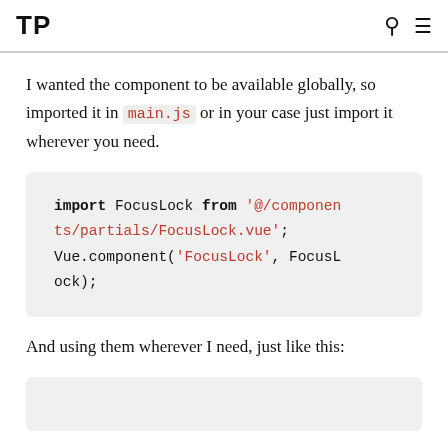TP
I wanted the component to be available globally, so imported it in main.js or in your case just import it wherever you need.
[Figure (screenshot): Code block showing: import FocusLock from '@/components/partials/FocusLock.vue'; Vue.component('FocusLock', FocusLock);]
And using them wherever I need, just like this:
[Figure (screenshot): Partial code block (cut off at bottom of page)]